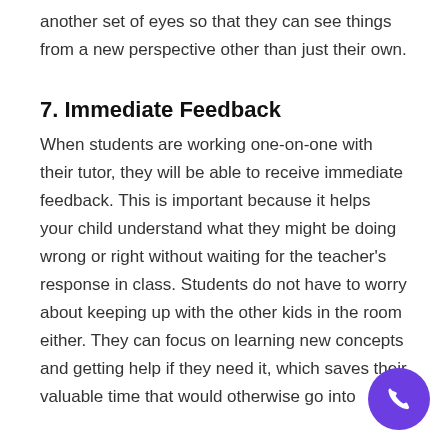another set of eyes so that they can see things from a new perspective other than just their own.
7. Immediate Feedback
When students are working one-on-one with their tutor, they will be able to receive immediate feedback. This is important because it helps your child understand what they might be doing wrong or right without waiting for the teacher's response in class. Students do not have to worry about keeping up with the other kids in the room either. They can focus on learning new concepts and getting help if they need it, which saves their valuable time that would otherwise go into